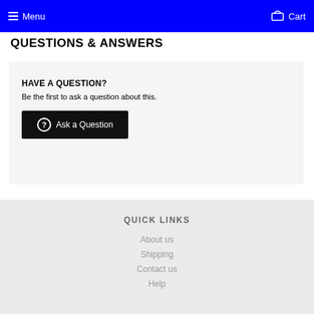Menu  Cart
QUESTIONS & ANSWERS
HAVE A QUESTION?
Be the first to ask a question about this.
Ask a Question
QUICK LINKS
About us
Shipping
Contact us
Help